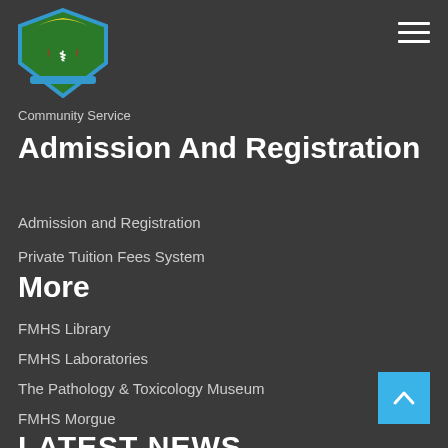[Figure (logo): University/institution shield logo with green, red, yellow and blue colors]
Community Service
Admission And Registration
Admission and Registration
Private Tuition Fees System
More
FMHS Library
FMHS Laboratories
The Pathology & Toxicology Museum
FMHS Morgue
LATEST NEWS